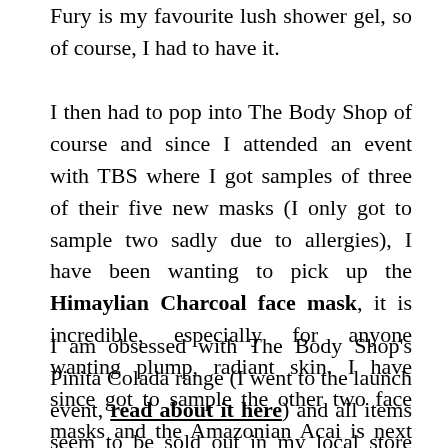Fury is my favourite lush shower gel, so of course, I had to have it.
I then had to pop into The Body Shop of course and since I attended an event with TBS where I got samples of three of their five new masks (I only got to sample two sadly due to allergies), I have been wanting to pick up the Himaylian Charcoal face mask, it is incredible, especially for anyone wanting plump, radiant skin. I have since got to sample the other two face masks and the Amazonian Acai is next on my list.
I am obsessed with The Body Shop's Pinita Colada range (I went to the launch event, read about it here) and all items seem to be sold out in my local store except the shower gel, so I decided to pick up the Pinita